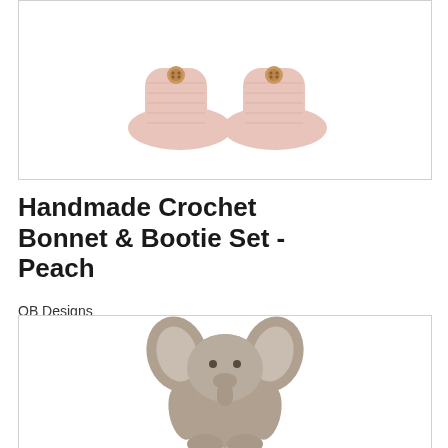[Figure (photo): Product photo of pink handmade crochet baby booties with wooden button, partially visible at top of page, light pink/peach color on white background]
Handmade Crochet Bonnet & Bootie Set - Peach
OB Designs
$49.00
[Figure (photo): Product photo of a grey plush stuffed elephant toy with large floppy ears and a friendly face, shown against white background]